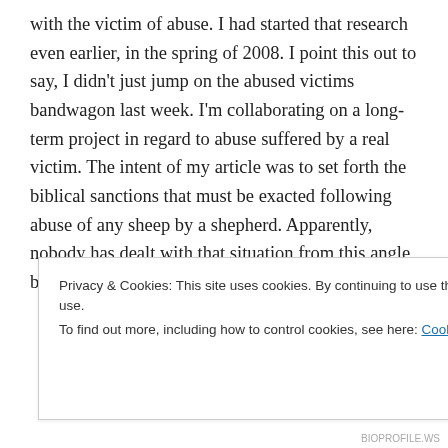with the victim of abuse. I had started that research even earlier, in the spring of 2008. I point this out to say, I didn't just jump on the abused victims bandwagon last week. I'm collaborating on a long-term project in regard to abuse suffered by a real victim. The intent of my article was to set forth the biblical sanctions that must be exacted following abuse of any sheep by a shepherd. Apparently, nobody has dealt with that situation from this angle before. The
Privacy & Cookies: This site uses cookies. By continuing to use this website, you agree to their use.
To find out more, including how to control cookies, see here: Cookie Policy
Close and accept
BIOPROFILE.WS